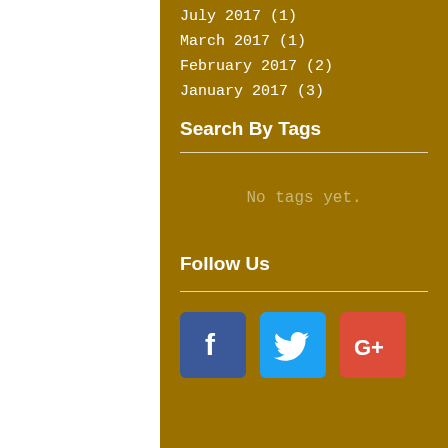July 2017 (1)
March 2017 (1)
February 2017 (2)
January 2017 (3)
Search By Tags
No tags yet.
Follow Us
[Figure (other): Social media icons: Facebook (blue with f), Twitter (light blue with bird), Google+ (red with G+)]